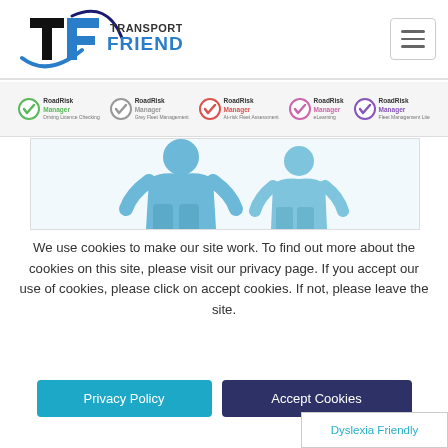Transport's Friend — navigation header with logo and hamburger menu
[Figure (logo): Transport's Friend logo with T and F lettermark in blue/black and swoosh]
[Figure (infographic): RoadRisk Manager product badges strip showing five variants: Driving Licence Checking, Grey Fleet Management, At-risk Fleet Assessment, eLearning, Fleet Management Lite]
[Figure (illustration): 3D blue human figure silhouettes on white background representing people management or fleet users]
We use cookies to make our site work. To find out more about the cookies on this site, please visit our privacy page. If you accept our use of cookies, please click on accept cookies. If not, please leave the site.
Privacy Policy
Accept Cookies
Dyslexia Friendly